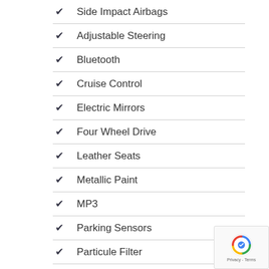Side Impact Airbags
Adjustable Steering
Bluetooth
Cruise Control
Electric Mirrors
Four Wheel Drive
Leather Seats
Metallic Paint
MP3
Parking Sensors
Particule Filter
Radio
Safety Belts
Safety Belts Rear
Satellite Navigation